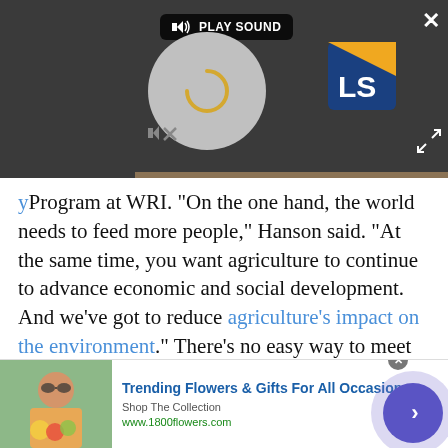[Figure (screenshot): Video player with dark background, PLAY SOUND button, loading spinner circle, LS logo, mute icon, close X button, and expand arrows button]
Program at WRI. "On the one hand, the world needs to feed more people," Hanson said. "At the same time, you want agriculture to continue to advance economic and social development. And we've got to reduce agriculture's impact on the environment." There's no easy way to meet all of those demands, Hanson added.
Advertisement
[Figure (screenshot): Advertisement banner for 1800flowers.com showing a woman with flowers, headline 'Trending Flowers & Gifts For All Occasions', subtext 'Shop The Collection', URL www.1800flowers.com, and a purple circular arrow button]